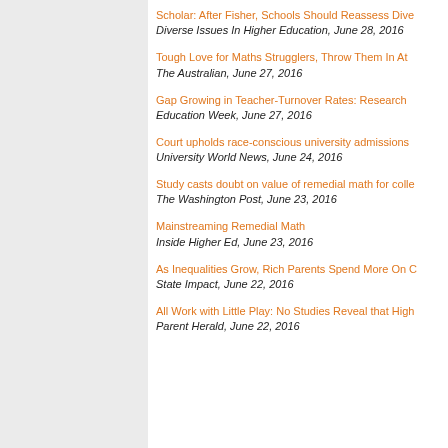Scholar: After Fisher, Schools Should Reassess Dive...
Diverse Issues In Higher Education, June 28, 2016
Tough Love for Maths Strugglers, Throw Them In At...
The Australian, June 27, 2016
Gap Growing in Teacher-Turnover Rates: Research...
Education Week, June 27, 2016
Court upholds race-conscious university admissions...
University World News, June 24, 2016
Study casts doubt on value of remedial math for colle...
The Washington Post, June 23, 2016
Mainstreaming Remedial Math
Inside Higher Ed, June 23, 2016
As Inequalities Grow, Rich Parents Spend More On...
State Impact, June 22, 2016
All Work with Little Play: No Studies Reveal that High...
Parent Herald, June 22, 2016